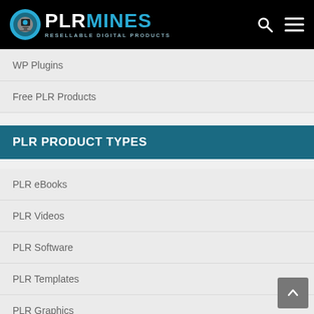PLR MINES - RESELLABLE DIGITAL PRODUCTS
WP Plugins
Free PLR Products
PLR PRODUCT TYPES
PLR eBooks
PLR Videos
PLR Software
PLR Templates
PLR Graphics
PLR Niche Blogs